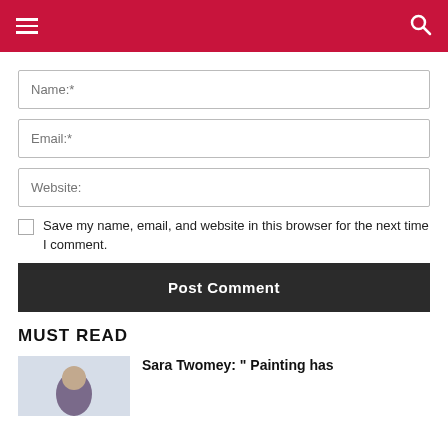Navigation bar with hamburger menu and search icon
Name:*
Email:*
Website:
Save my name, email, and website in this browser for the next time I comment.
Post Comment
MUST READ
Sara Twomey: " Painting has